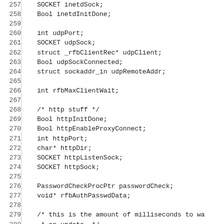Code listing lines 257-286 showing C struct field declarations including SOCKET inetdSock, Bool inetdInitDone, int udpPort, SOCKET udpSock, struct _rfbClientRec* udpClient, Bool udpSockConnected, struct sockaddr_in udpRemoteAddr, int rfbMaxClientWait, http stuff comment, Bool httpInitDone, Bool httpEnableProxyConnect, int httpPort, char* httpDir, SOCKET httpListenSock, SOCKET httpSock, PasswordCheckProcPtr passwordCheck, void* rfbAuthPasswdData, comment about milliseconds to wait for an update, int rfbDeferUpdateTime, char* rfbScreen, Bool rfbAlwaysShared, Bool rfbNeverShared, Bool rfbDontDisconnect, struct rfbClientRec* rfbClientHead